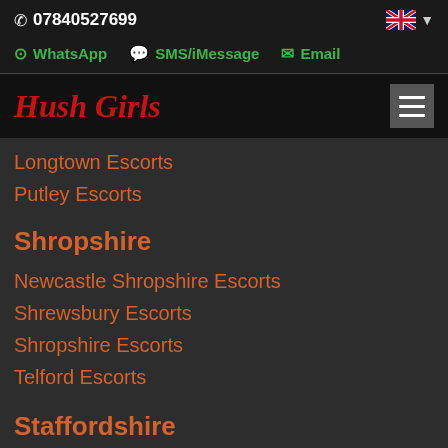07840527699
WhatsApp   SMS/iMessage   Email
Hush Girls
Longtown Escorts
Putley Escorts
Shropshire
Newcastle Shropshire Escorts
Shrewsbury Escorts
Shropshire Escorts
Telford Escorts
Staffordshire
Anslow Escorts